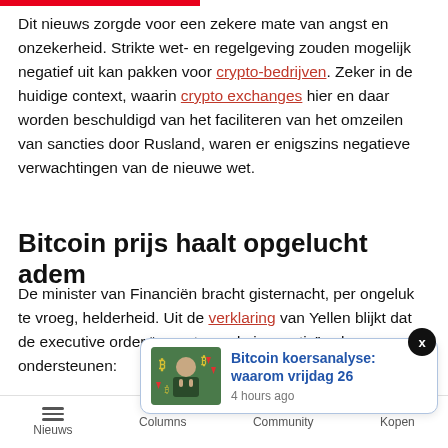Dit nieuws zorgde voor een zekere mate van angst en onzekerheid. Strikte wet- en regelgeving zouden mogelijk negatief uit kan pakken voor crypto-bedrijven. Zeker in de huidige context, waarin crypto exchanges hier en daar worden beschuldigd van het faciliteren van het omzeilen van sancties door Rusland, waren er enigszins negatieve verwachtingen van de nieuwe wet.
Bitcoin prijs haalt opgelucht adem
De minister van Financiën bracht gisternacht, per ongeluk te vroeg, helderheid. Uit de verklaring van Yellen blijkt dat de executive order “verantwoorde innovatie” zal ondersteunen:
[Figure (screenshot): Popup card showing a thumbnail image of a person with Bitcoin symbols and red arrows, with title 'Bitcoin koersanalyse: waarom vrijdag 26' and timestamp '4 hours ago'. A close button (X) appears in the top-right corner of the popup.]
Nieuws	Columns	Community	Kopen